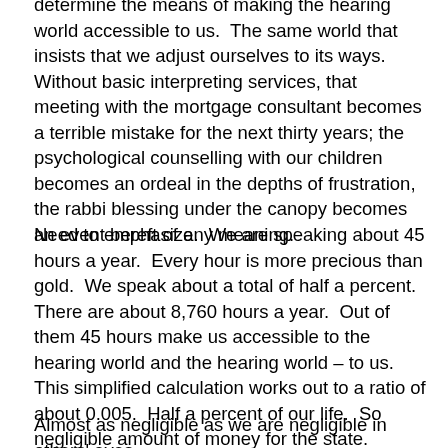determine the means of making the hearing world accessible to us.  The same world that insists that we adjust ourselves to its ways.  Without basic interpreting services, that meeting with the mortgage consultant becomes a terrible mistake for the next thirty years; the psychological counselling with our children becomes an ordeal in the depths of frustration, the rabbi blessing under the canopy becomes an event bereft of any meaning.
Need to emphasize.  We are speaking about 45 hours a year.  Every hour is more precious than gold.  We speak about a total of half a percent.  There are about 8,760 hours a year.  Out of them 45 hours make us accessible to the hearing world and the hearing world – to us.  This simplified calculation works out to a ratio of about 0.005.  Half a percent of our life.  So negligible amount of money for the state.
Almost as negligible as we are negligible in others' eyes.